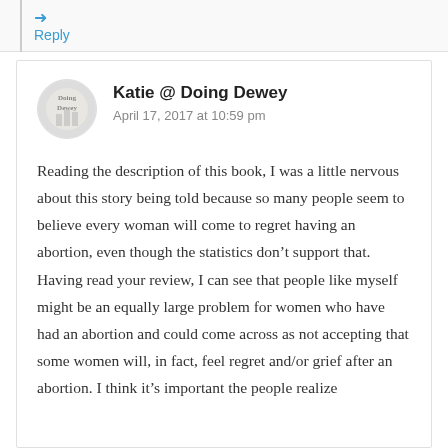→ Reply
Katie @ Doing Dewey
April 17, 2017 at 10:59 pm
Reading the description of this book, I was a little nervous about this story being told because so many people seem to believe every woman will come to regret having an abortion, even though the statistics don't support that. Having read your review, I can see that people like myself might be an equally large problem for women who have had an abortion and could come across as not accepting that some women will, in fact, feel regret and/or grief after an abortion. I think it's important the people realize